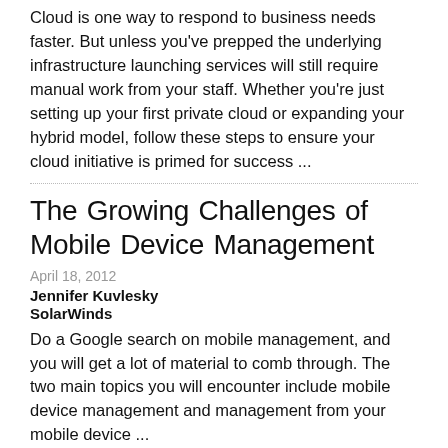Cloud is one way to respond to business needs faster. But unless you've prepped the underlying infrastructure launching services will still require manual work from your staff. Whether you're just setting up your first private cloud or expanding your hybrid model, follow these steps to ensure your cloud initiative is primed for success ...
The Growing Challenges of Mobile Device Management
April 18, 2012
Jennifer Kuvlesky
SolarWinds
Do a Google search on mobile management, and you will get a lot of material to comb through. The two main topics you will encounter include mobile device management and management from your mobile device ...
How to Choose the Right Service Provider